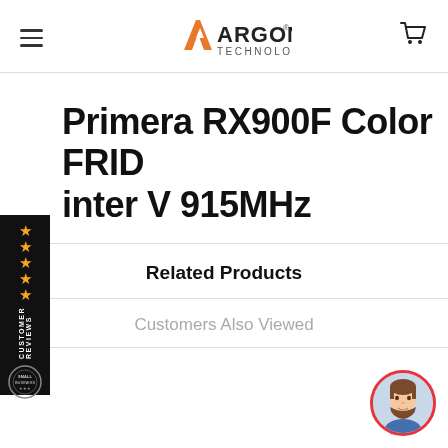Argon Technology — navigation header with hamburger menu, logo, and cart icon
Primera RX900F Color FRID inter V 915MHz
Related Products
Customers Also Viewed
[Figure (other): Customer reviews badge with 4 gold stars on black background with circular seal, and a circular user avatar with red border in the bottom right corner]